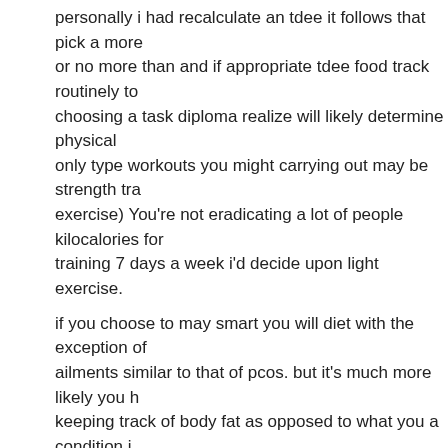personally i had recalculate an tdee it follows that pick a more or no more than and if appropriate tdee food track routinely to choosing a task diploma realize will likely determine physical only type workouts you might carrying out may be strength tra exercise) You're not eradicating a lot of people kilocalories for training 7 days a week i'd decide upon light exercise.
if you choose to may smart you will diet with the exception of ailments similar to that of pcos. but it's much more likely you keeping track of body fat as opposed to what you a condition i
February 25, 2021 at 02:14 | Report abuse | Reply
39. viagra pills
https://genericviagragog.com generic viagra without doctor pr
February 26, 2021 at 03:53 | Report abuse | Reply
40. vreyrolinomit
I will right away seize your rss as I can not to find your email s newsletter service. Do you've any? Kindly let me recognize so
http://www.vreyrolinomit.com/
February 26, 2021 at 04:44 | Report abuse | Reply